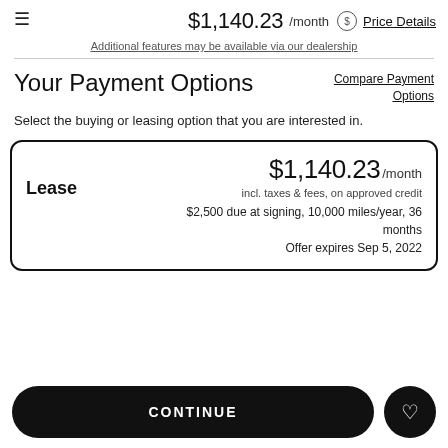$1,140.23 /month  Price Details
Additional features may be available via our dealership
Your Payment Options
Compare Payment Options
Select the buying or leasing option that you are interested in.
Lease  $1,140.23 /month  incl. taxes & fees, on approved credit  $2,500 due at signing, 10,000 miles/year, 36 months  Offer expires Sep 5, 2022
CONTINUE